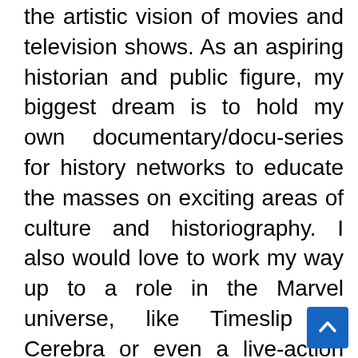the artistic vision of movies and television shows. As an aspiring historian and public figure, my biggest dream is to hold my own documentary/docu-series for history networks to educate the masses on exciting areas of culture and historiography. I also would love to work my way up to a role in the Marvel universe, like Timeslip or Cerebra or even a live-action version of the anime Michiko to Hatchin. Also, alongside the idea of acting, I hope I can one day write my movie or consult on a movie set. I love creative processes and production, so I hope to accomplish that goal one day.